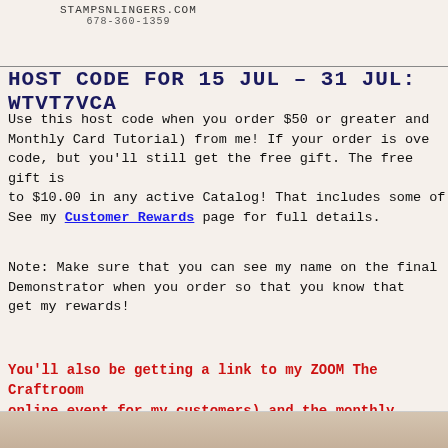STAMPSNLINGERS.COM
678-360-1359
HOST CODE FOR 15 JUL – 31 JUL: WTVT7VCA
Use this host code when you order $50 or greater and Monthly Card Tutorial) from me!  If your order is over code, but you'll still get the free gift.  The free gift is to $10.00 in any active Catalog!  That includes some of See my Customer Rewards page for full details.
Note: Make sure that you can see my name on the final Demonstrator when you order so that you know that get my rewards!
You'll also be getting a link to my ZOOM The Craftroom online event for my customers) and the monthly Online features the Sweet as a Peach Bundle!
[Figure (photo): Partial image visible at bottom of page, appears to be a crafting or product photo]